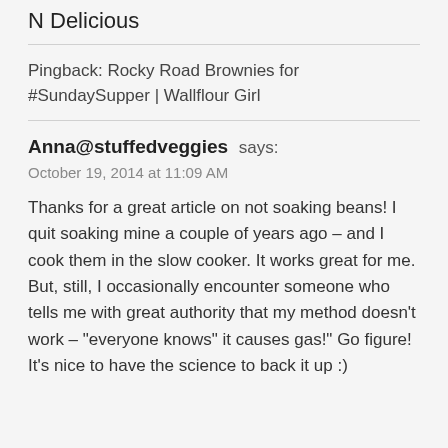N Delicious
Pingback: Rocky Road Brownies for #SundaySupper | Wallflour Girl
Anna@stuffedveggies says:
October 19, 2014 at 11:09 AM
Thanks for a great article on not soaking beans! I quit soaking mine a couple of years ago – and I cook them in the slow cooker. It works great for me. But, still, I occasionally encounter someone who tells me with great authority that my method doesn't work – "everyone knows" it causes gas!" Go figure! It's nice to have the science to back it up :)